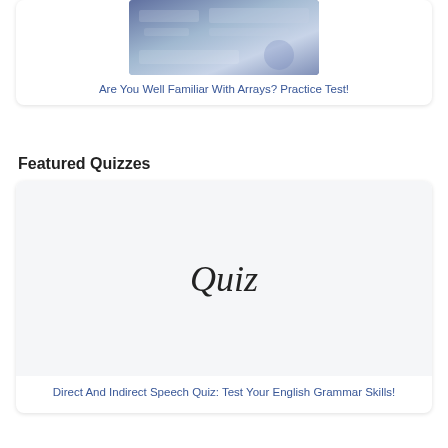[Figure (screenshot): Thumbnail image for arrays practice test quiz card, showing a blurred colorful background]
Are You Well Familiar With Arrays? Practice Test!
Featured Quizzes
[Figure (illustration): Quiz card image area with the word 'Quiz' written in handwritten/cursive style on a light background]
Direct And Indirect Speech Quiz: Test Your English Grammar Skills!